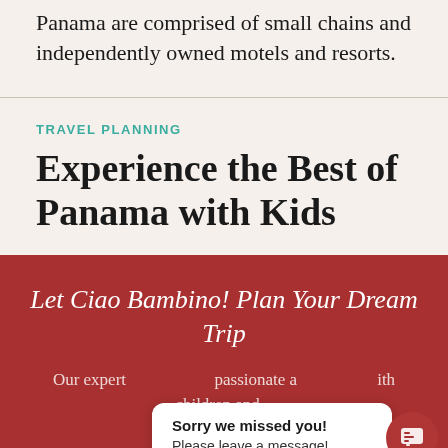Panama are comprised of small chains and independently owned motels and resorts.
TRAVEL PLANNING
Experience the Best of Panama with Kids
Let Ciao Bambino! Plan Your Dream Trip
Our expert ... passionate a... ... ith children and... ... ntly...
Sorry we missed you! Please leave a message!